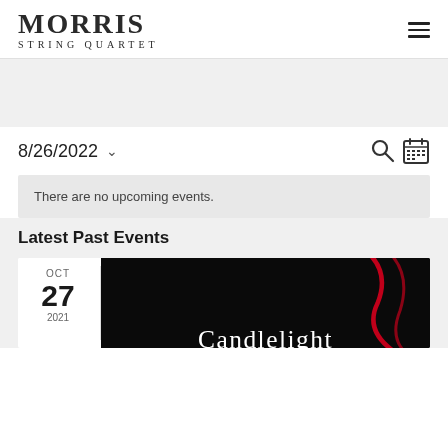MORRIS STRING QUARTET
8/26/2022
There are no upcoming events.
Latest Past Events
OCT 27 2021
[Figure (photo): Dark promotional image with text 'Candlelight' and a red decorative element]